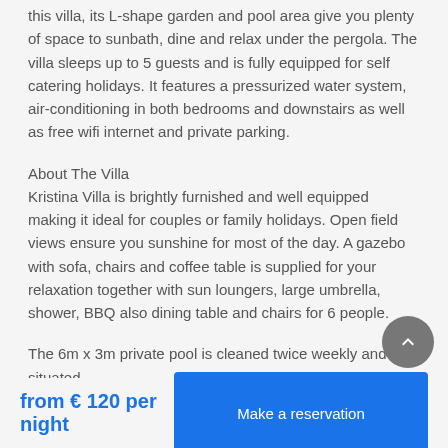this villa, its L-shape garden and pool area give you plenty of space to sunbath, dine and relax under the pergola. The villa sleeps up to 5 guests and is fully equipped for self catering holidays. It features a pressurized water system, air-conditioning in both bedrooms and downstairs as well as free wifi internet and private parking.
About The Villa
Kristina Villa is brightly furnished and well equipped making it ideal for couples or family holidays. Open field views ensure you sunshine for most of the day. A gazebo with sofa, chairs and coffee table is supplied for your relaxation together with sun loungers, large umbrella, shower, BBQ also dining table and chairs for 6 people.
The 6m x 3m private pool is cleaned twice weekly and is situated
from € 120 per night
Make a reservation